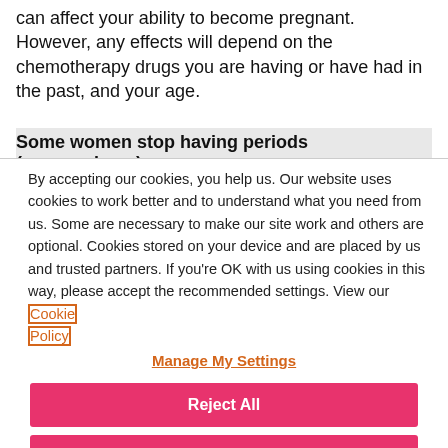can affect your ability to become pregnant. However, any effects will depend on the chemotherapy drugs you are having or have had in the past, and your age.
Some women stop having periods (amenorrhoea)
By accepting our cookies, you help us. Our website uses cookies to work better and to understand what you need from us. Some are necessary to make our site work and others are optional. Cookies stored on your device and are placed by us and trusted partners. If you're OK with us using cookies in this way, please accept the recommended settings. View our Cookie Policy
Manage My Settings
Reject All
Accept All Cookies